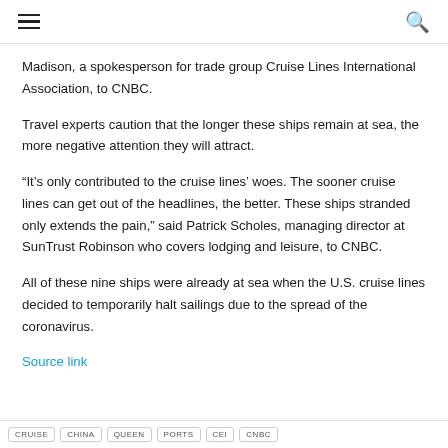navigation header with hamburger menu and search icon
Madison, a spokesperson for trade group Cruise Lines International Association, to CNBC.
Travel experts caution that the longer these ships remain at sea, the more negative attention they will attract.
“It’s only contributed to the cruise lines’ woes. The sooner cruise lines can get out of the headlines, the better. These ships stranded only extends the pain,” said Patrick Scholes, managing director at SunTrust Robinson who covers lodging and leisure, to CNBC.
All of these nine ships were already at sea when the U.S. cruise lines decided to temporarily halt sailings due to the spread of the coronavirus.
Source link
CRUISE  CHINA  QUEEN  PORTS  CEI  CNBC